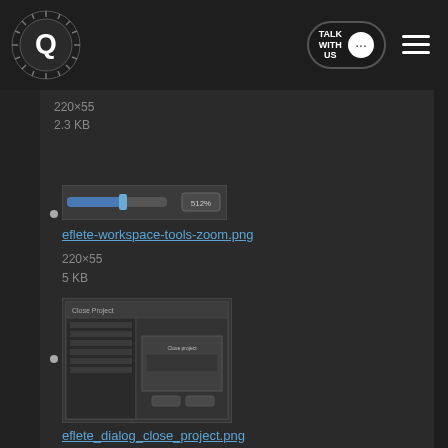[Figure (screenshot): Top navigation bar with circular logo on left, TALK WITH US button and hamburger menu on right]
220×55
2.3 KB
[Figure (screenshot): Thumbnail of eflete-workspace-tools-zoom.png showing a zoom toolbar]
eflete-workspace-tools-zoom.png
220×55
5 KB
[Figure (screenshot): Thumbnail of eflete_dialog_close_project.png showing a dialog window]
eflete_dialog_close_project.png
712×525
40.6 KB
[Figure (screenshot): Thumbnail of eflete_dialog_import_edj.png showing a dialog window]
eflete_dialog_import_edj.png